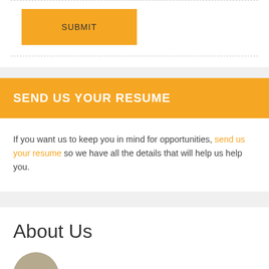[Figure (other): Orange SUBMIT button on white background]
SEND US YOUR RESUME
If you want us to keep you in mind for opportunities, send us your resume so we have all the details that will help us help you.
About Us
Claire Kittle Dixon